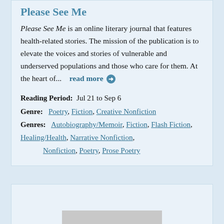Please See Me
Please See Me is an online literary journal that features health-related stories. The mission of the publication is to elevate the voices and stories of vulnerable and underserved populations and those who care for them. At the heart of...   read more →
Reading Period:  Jul 21 to Sep 6
Genre:  Poetry, Fiction, Creative Nonfiction
Genres:  Autobiography/Memoir, Fiction, Flash Fiction, Healing/Health, Narrative Nonfiction, Nonfiction, Poetry, Prose Poetry